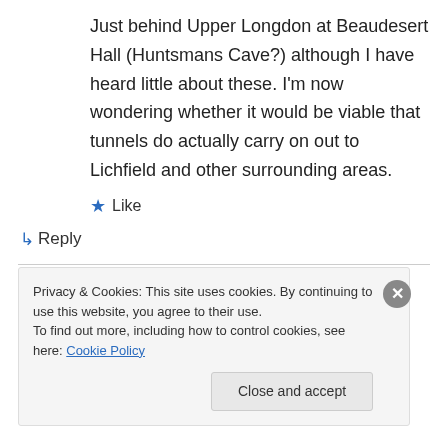Just behind Upper Longdon at Beaudesert Hall (Huntsmans Cave?) although I have heard little about these. I'm now wondering whether it would be viable that tunnels do actually carry on out to Lichfield and other surrounding areas.
★ Like
↳ Reply
Rob Jones on July 29, 2019 at 7:06 am
Privacy & Cookies: This site uses cookies. By continuing to use this website, you agree to their use.
To find out more, including how to control cookies, see here: Cookie Policy